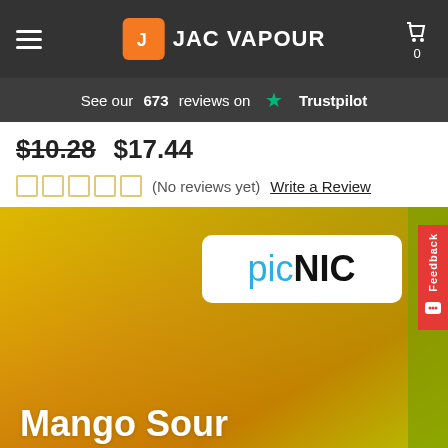[Figure (screenshot): JAC Vapour navigation bar with hamburger menu, orange logo icon, JAC VAPOUR text, and cart icon showing 0]
See our 673 reviews on ★ Trustpilot
$10.28   $17.44
★★★★★ (No reviews yet) Write a Review
[Figure (photo): Product image with yellow-green gradient background showing picNIC logo overlay and Mango Sour text label]